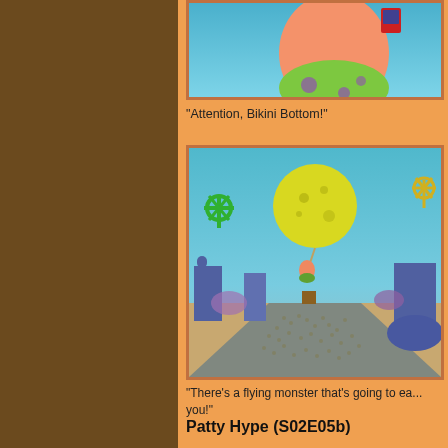[Figure (screenshot): SpongeBob cartoon screenshot showing Patrick Star from below, wearing green flowered shorts, against a blue underwater background]
"Attention, Bikini Bottom!"
[Figure (screenshot): SpongeBob cartoon screenshot showing Patrick floating with a large yellow balloon over Bikini Bottom street with many small fish characters looking up]
"There's a flying monster that's going to ea... you!"
Patty Hype (S02E05b)